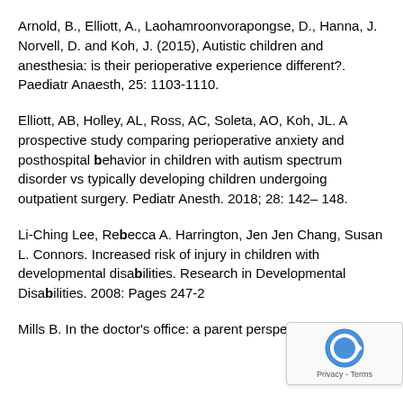Arnold, B., Elliott, A., Laohamroonvorapongse, D., Hanna, J. Norvell, D. and Koh, J. (2015), Autistic children and anesthesia: is their perioperative experience different?. Paediatr Anaesth, 25: 1103-1110.
Elliott, AB, Holley, AL, Ross, AC, Soleta, AO, Koh, JL. A prospective study comparing perioperative anxiety and posthospital behavior in children with autism spectrum disorder vs typically developing children undergoing outpatient surgery. Pediatr Anesth. 2018; 28: 142– 148.
Li-Ching Lee, Rebecca A. Harrington, Jen Jen Chang, Susan L. Connors. Increased risk of injury in children with developmental disabilities. Research in Developmental Disabilities. 2008: Pages 247-2[cut off]
Mills B. In the doctor's office: a parent perspec[cut off] Pediatric Clinics of North America. 2008; 55: 17 M[cut off]